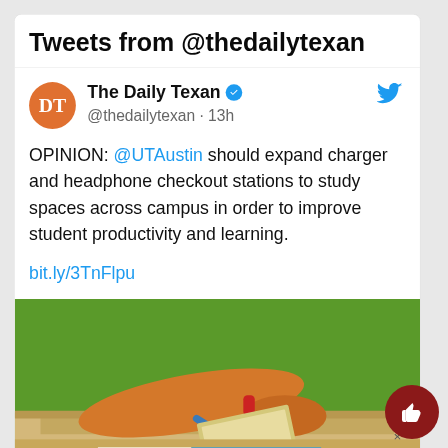Tweets from @thedailytexan
The Daily Texan @thedailytexan · 13h
OPINION: @UTAustin should expand charger and headphone checkout stations to study spaces across campus in order to improve student productivity and learning.
bit.ly/3TnFlpu
[Figure (illustration): Colorful illustration of a person's arm with headphones on a desk, green background]
[Figure (infographic): Advertisement banner for utexas.rent student housing with blue background, text: AUSTIN'S BEST HOUSING FOR STUDENTS VISIT UTEXAS.RENT]